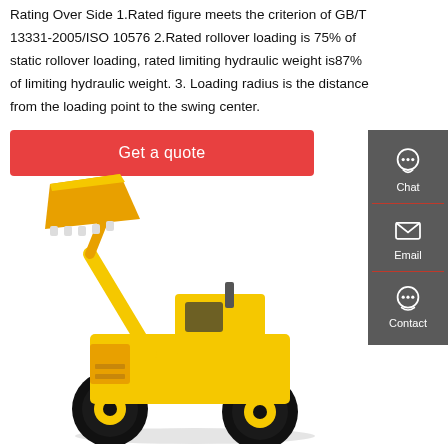Rating Over Side 1.Rated figure meets the criterion of GB/T 13331-2005/ISO 10576 2.Rated rollover loading is 75% of static rollover loading, rated limiting hydraulic weight is87% of limiting hydraulic weight. 3. Loading radius is the distance from the loading point to the swing center.
Get a quote
[Figure (screenshot): Sidebar with Chat, Email, Contact icons on dark grey background]
[Figure (photo): Yellow wheel loader construction machine with raised bucket arm]